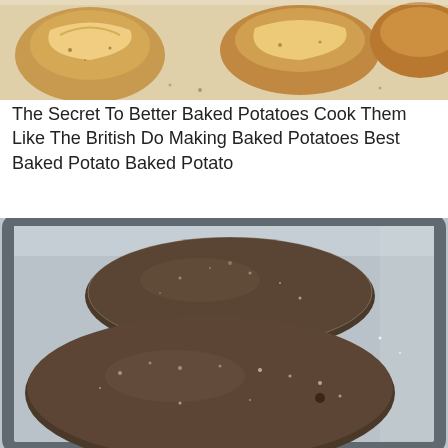[Figure (photo): Top portion of baked potatoes that have been split open, showing golden fluffy interior on a baking sheet]
The Secret To Better Baked Potatoes Cook Them Like The British Do Making Baked Potatoes Best Baked Potato Baked Potato
[Figure (photo): Two salt-crusted baked potatoes on a metal baking tray, shot from above at an angle]